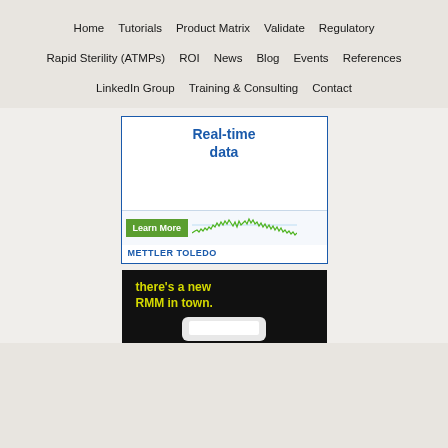Home   Tutorials   Product Matrix   Validate   Regulatory
Rapid Sterility (ATMPs)   ROI   News   Blog   Events   References
LinkedIn Group   Training & Consulting   Contact
[Figure (screenshot): Mettler Toledo advertisement with 'Real-time data' title in blue, a green 'Learn More' button, a green waveform chart, and 'METTLER TOLEDO' branding in blue at the bottom.]
[Figure (photo): Black advertisement with yellow text reading 'there's a new RMM in town.' with a white device image partially visible at bottom.]